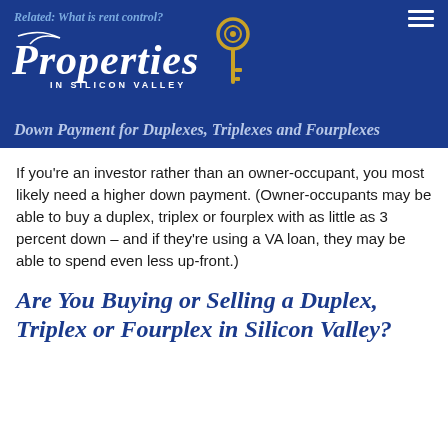Related: What is rent control?
[Figure (logo): Properties in Silicon Valley logo with a golden key and italic script text]
Down Payment for Duplexes, Triplexes and Fourplexes
If you're an investor rather than an owner-occupant, you most likely need a higher down payment. (Owner-occupants may be able to buy a duplex, triplex or fourplex with as little as 3 percent down – and if they're using a VA loan, they may be able to spend even less up-front.)
Are You Buying or Selling a Duplex, Triplex or Fourplex in Silicon Valley?